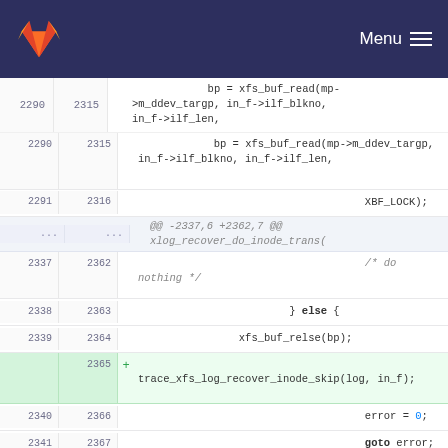Menu
[Figure (screenshot): GitLab code diff view showing addition of trace_xfs_log_recover_inode_skip function call]
2290 2315  bp = xfs_buf_read(mp->m_ddev_targp, in_f->ilf_blkno, in_f->ilf_len,
2291 2316  XBF_LOCK);
... ...  @@ -2337,6 +2362,7 @@ xlog_recover_do_inode_trans(
2337 2362  /* do nothing */
2338 2363  } else {
2339 2364  xfs_buf_relse(bp);
+ 2365  trace_xfs_log_recover_inode_skip(log, in_f);
2340 2366  error = 0;
2341 2367  goto error;
2342 2368  }
... ...  @@ -2758,11 +2784,12 @@ xlog_recover_do_trans(
2758 2784  int